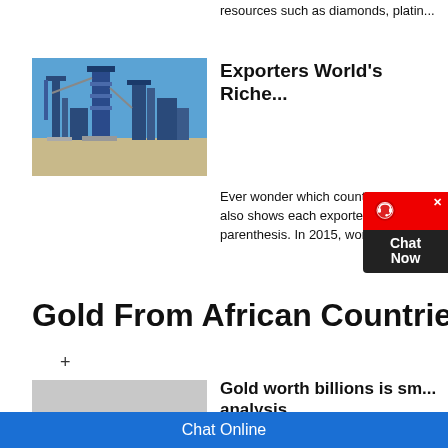resources such as diamonds, platin...
Exporters World's Riche...
[Figure (photo): Industrial mining facility with blue steel structures and equipment against a clear blue sky]
Ever wonder which countries export... also shows each exporter's p... ta... parenthesis. In 2015, world g... p...
Gold From African Countries
+
[Figure (photo): Open-pit mining operation with heavy machinery moving piles of pale grey material]
Gold worth billions is sm... analysis
2019-4-24   The UAE reported gold... for 2016. Of those countries, 25 did... their gold exports to the UAE. But th...
Chat Online